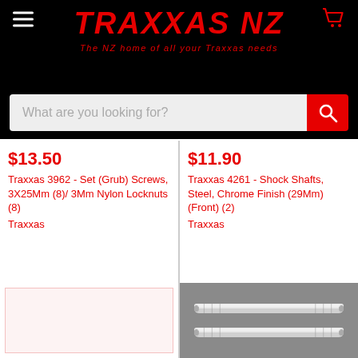TRAXXAS NZ - The NZ home of all your Traxxas needs
What are you looking for?
$13.50
Traxxas 3962 - Set (Grub) Screws, 3X25Mm (8)/ 3Mm Nylon Locknuts (8)
Traxxas
$11.90
Traxxas 4261 - Shock Shafts, Steel, Chrome Finish (29Mm) (Front) (2)
Traxxas
[Figure (photo): Blank/placeholder product image with light pink background]
[Figure (photo): Photo of two chrome steel shock shafts on grey background]